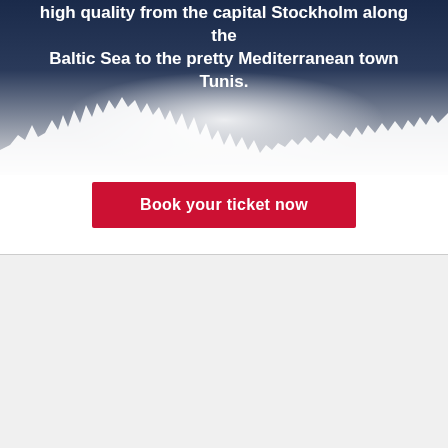[Figure (photo): Dark blue scenic background photo with text overlay showing Stockholm and Mediterranean coastline imagery. White jagged silhouette of a city/mountain skyline at the bottom of the image.]
high quality from the capital Stockholm along the Baltic Sea to the pretty Mediterranean town Tunis.
Book your ticket now
Turkish Airlines offers 6 different flight alternatives in average every day from Stockholm to Tunis. All operated as connecting over Istanbul Airport (IST), flights in this route take off from Stockholm Arlanda Airport (ARN) and land at Tunis Carthage Airport (TUN). The duration of the journey varies by the layover at Istanbul, ranging from 9 to 29 hours.
Turkish Airlines offers for its passengers with a layover between 6 to 24 hours the complimentary sightseeing service Touristanbul, providing a chance to see closely this